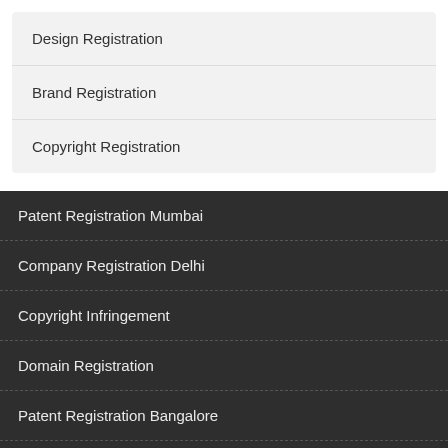Design Registration
Brand Registration
Copyright Registration
Patent Registration Mumbai
Company Registration Delhi
Copyright Infringement
Domain Registration
Patent Registration Bangalore
Company Registration Mumbai
Copyright Protection
Web Hosting
Patent Registration Chennai